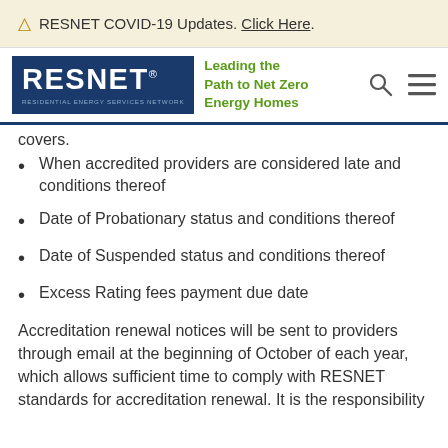⚠ RESNET COVID-19 Updates. Click Here.
[Figure (logo): RESNET logo with tagline 'Leading the Path to Net Zero Energy Homes' and navigation icons]
covers.
When accredited providers are considered late and conditions thereof
Date of Probationary status and conditions thereof
Date of Suspended status and conditions thereof
Excess Rating fees payment due date
Accreditation renewal notices will be sent to providers through email at the beginning of October of each year, which allows sufficient time to comply with RESNET standards for accreditation renewal. It is the responsibility